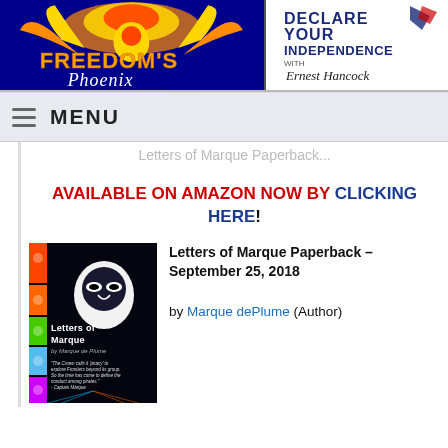[Figure (logo): Freedom's Phoenix logo with golden phoenix bird on dark blue background]
[Figure (logo): Declare Your Independence with Ernest Hancock logo]
MENU
Letters of Marque Paperback
AVAILABLE ON AMAZON NOW BY CLICKING HERE!
[Figure (illustration): Book cover for Letters of Marque by Marque de Plume, featuring a masked figure on black background with colorful side panels]
Letters of Marque Paperback – September 25, 2018
by Marque dePlume (Author)